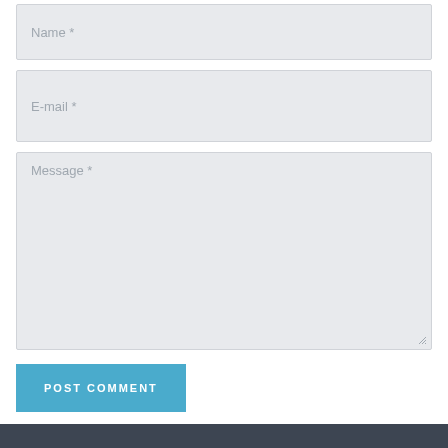[Figure (screenshot): Web form with Name, E-mail, and Message input fields, a POST COMMENT button, and a dark footer bar]
Name *
E-mail *
Message *
POST COMMENT